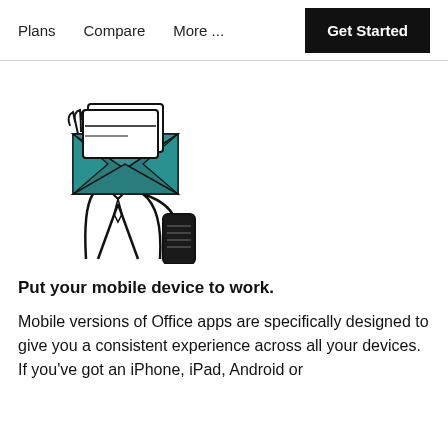Plans   Compare   More ...   Get Started
[Figure (illustration): Line art illustration of a person in a suit holding an open envelope with cards inside in one hand and a smartphone in the other hand.]
Put your mobile device to work.
Mobile versions of Office apps are specifically designed to give you a consistent experience across all your devices. If you've got an iPhone, iPad, Android or